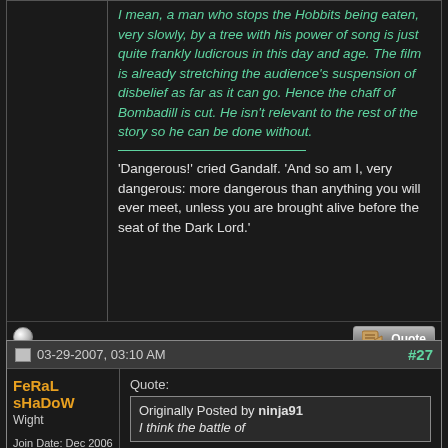I mean, a man who stops the Hobbits being eaten, very slowly, by a tree with his power of song is just quite frankly ludicrous in this day and age. The film is already stretching the audience's suspension of disbelief as far as it can go. Hence the chaff of Bombadill is cut. He isn't relevant to the rest of the story so he can be done without.
'Dangerous!' cried Gandalf. 'And so am I, very dangerous: more dangerous than anything you will ever meet, unless you are brought alive before the seat of the Dark Lord.'
03-29-2007, 03:10 AM
#27
FeRaL sHaDoW
Wight
Join Date: Dec 2006
Location: New Zealand
Quote:
Originally Posted by ninja91
I think the battle of